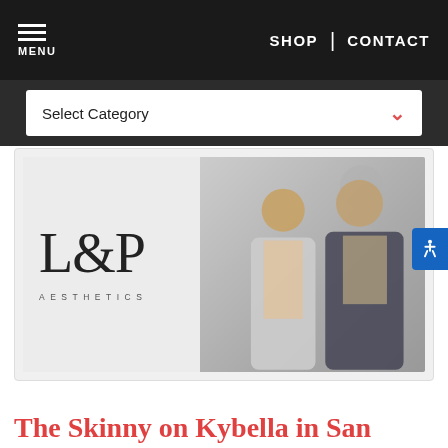MENU | SHOP | CONTACT
Select Category
[Figure (photo): L&P Aesthetics logo on left with two men (doctors) standing together on the right side of the image]
The Skinny on Kybella in San